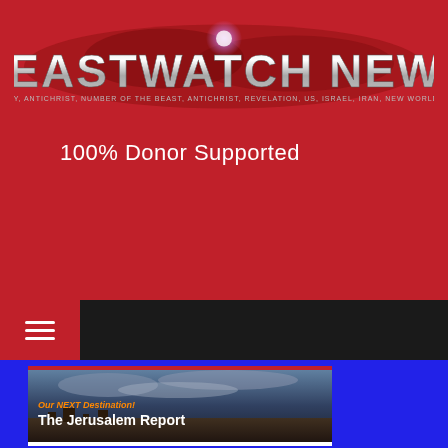[Figure (logo): BeastWatch News logo with metallic silver lettering on red background with world map graphic]
100% Donor Supported
[Figure (other): PayPal Donate button, yellow pill-shaped button with bold text]
[Figure (other): Navigation bar with hamburger menu icon on dark background]
[Figure (photo): Article card showing 'Our NEXT Destination! The Jerusalem Report' with an aerial photograph of Jerusalem]